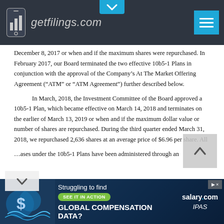getfilings.com
December 8, 2017 or when and if the maximum shares were repurchased. In February 2017, our Board terminated the two effective 10b5-1 Plans in conjunction with the approval of the Company’s At The Market Offering Agreement (“ATM” or “ATM Agreement”) further described below.
In March, 2018, the Investment Committee of the Board approved a 10b5-1 Plan, which became effective on March 14, 2018 and terminates on the earlier of March 13, 2019 or when and if the maximum dollar value or number of shares are repurchased. During the third quarter ended March 31, 2018, we repurchased 2,636 shares at an average price of $6.96 per share. All …ases under the 10b5-1 Plans have been administered through an
[Figure (infographic): Salary.com advertisement banner: Struggling to find GLOBAL COMPENSATION DATA? SEE IT IN ACTION button, salary.com logo, IPAS logo]